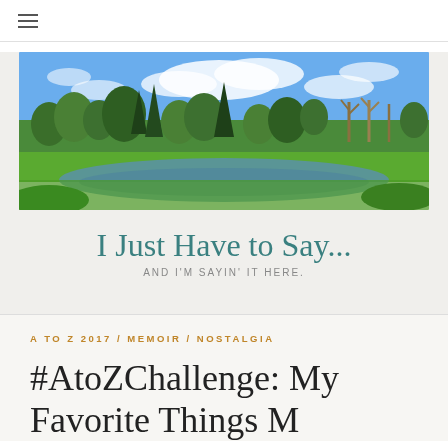≡
[Figure (photo): Landscape photo showing a park with green trees, a pond or small lake, and blue sky with clouds]
I Just Have to Say...
AND I'M SAYIN' IT HERE.
A TO Z 2017 / MEMOIR / NOSTALGIA
#AtoZChallenge: My Favorite Things M